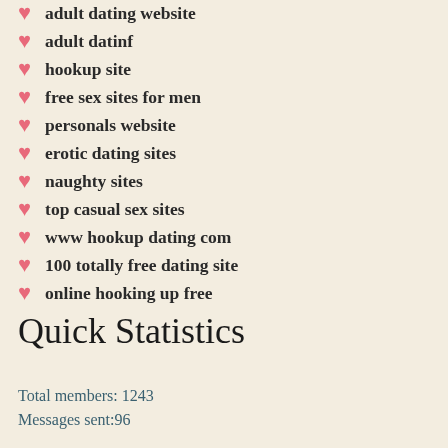adult dating website
adult datinf
hookup site
free sex sites for men
personals website
erotic dating sites
naughty sites
top casual sex sites
www hookup dating com
100 totally free dating site
online hooking up free
Quick Statistics
Total members: 1243
Messages sent:96